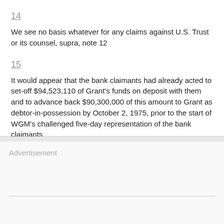14
We see no basis whatever for any claims against U.S. Trust or its counsel, supra, note 12
15
It would appear that the bank claimants had already acted to set-off $94,523,110 of Grant's funds on deposit with them and to advance back $90,300,000 of this amount to Grant as debtor-in-possession by October 2, 1975, prior to the start of WGM's challenged five-day representation of the bank claimants
Advertisement